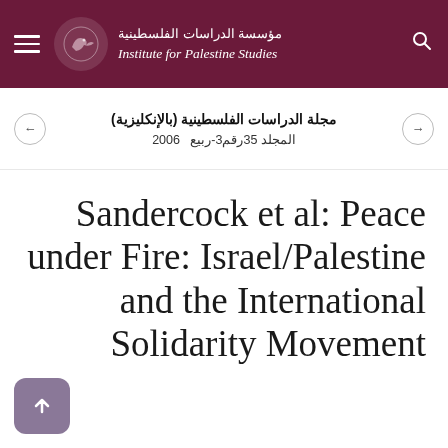مؤسسة الدراسات الفلسطينية | Institute for Palestine Studies
مجلة الدراسات الفلسطينية (بالإنكليزية)
المجلد 35رقم3-ربيع  2006
Sandercock et al: Peace under Fire: Israel/Palestine and the International Solidarity Movement